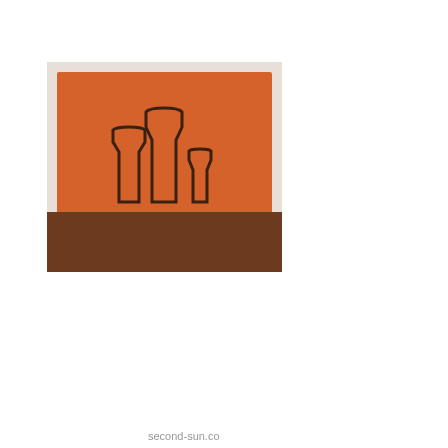[Figure (photo): An orange square canvas painting leaning against a white wall on a wooden floor. The painting depicts outlines of three bottles of different heights rendered in dark color on the orange background.]
second-sun.co
helpful   non helpful
Try Synergy Diesel Ef fuel for better fuel ec